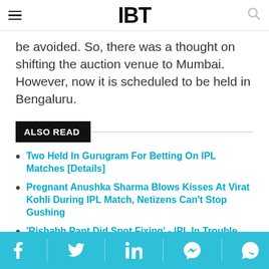IBT
be avoided. So, there was a thought on shifting the auction venue to Mumbai. However, now it is scheduled to be held in Bengaluru.
ALSO READ
Two Held In Gurugram For Betting On IPL Matches [Details]
Pregnant Anushka Sharma Blows Kisses At Virat Kohli During IPL Match, Netizens Can't Stop Gushing
'Rishabh Pant Did Spot Fixing' - IPL In Trouble Again? Twitter Cries Foul [Video]
Facebook Twitter LinkedIn Messenger WhatsApp